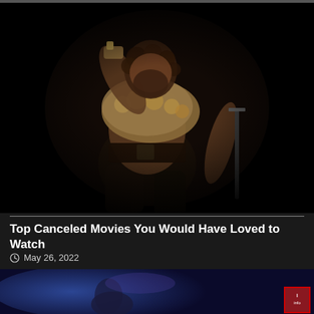[Figure (photo): A muscular man in Viking/warrior costume with fur collar, drinking from a large cup/horn, seated and holding a sword, dark dramatic background]
Top Canceled Movies You Would Have Loved to Watch
May 26, 2022
[Figure (photo): Partial bottom image showing a dark blue/purple scene, partially visible, with a small red-bordered badge/icon in the bottom-right corner]